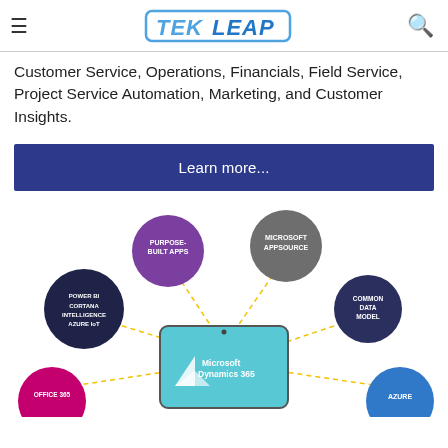TekLeap (logo)
Customer Service, Operations, Financials, Field Service, Project Service Automation, Marketing, and Customer Insights.
Learn more...
[Figure (infographic): Circular infographic showing Microsoft Dynamics 365 at the center on a tablet, surrounded by connected bubbles: Purpose-Built Apps (purple), Microsoft AppSource (gray), Common Data Model (dark navy), Azure (blue), Office 365 (magenta), Power BI / Cortana Intelligence / Azure IoT (dark navy). Connected with dashed yellow lines.]